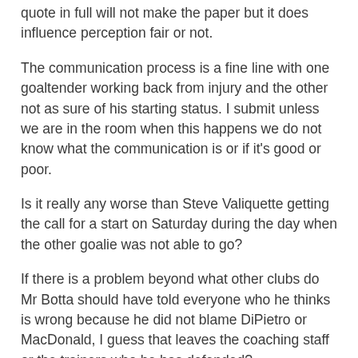quote in full will not make the paper but it does influence perception fair or not.
The communication process is a fine line with one goaltender working back from injury and the other not as sure of his starting status. I submit unless we are in the room when this happens we do not know what the communication is or if it's good or poor.
Is it really any worse than Steve Valiquette getting the call for a start on Saturday during the day when the other goalie was not able to go?
If there is a problem beyond what other clubs do Mr Botta should have told everyone who he thinks is wrong because he did not blame DiPietro or MacDonald, I guess that leaves the coaching staff or the trainers who he has defended?
He just kind of let it just sit there after stirring up perception something is not being handled properly.
I'm not sure it was necessary in this instance or he should have...